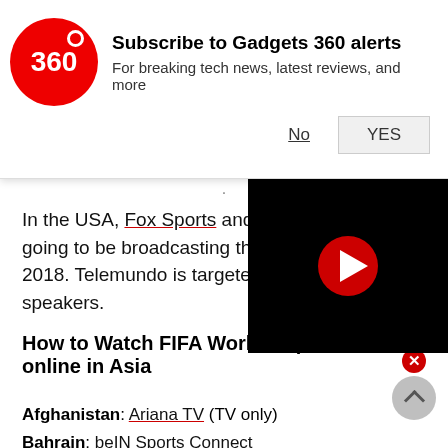[Figure (screenshot): Gadgets 360 push notification prompt with red circular logo showing '360', title 'Subscribe to Gadgets 360 alerts', subtitle 'For breaking tech news, latest reviews, and more', and No/YES buttons]
In the USA, Fox Sports and Telemundo are going to be broadcasting the FIFA World Cup 2018. Telemundo is targeted at Spanish speakers.
How to Watch FIFA World Cup 2018 online in Asia
Afghanistan: Ariana TV (TV only)
Bahrain: beIN Sports Connect
Bangladesh: Sony Pictures Networks India
Bhutan: Sony Pictures Networks India
Brunei: Astro
Cambodia: Cambodia Television Network (CTN)
China PR: China Central Television (CCTV), Youku
[Figure (screenshot): Black video player overlay with red circular play button]